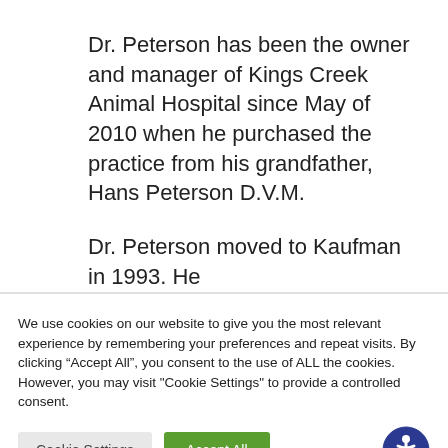Dr. Peterson has been the owner and manager of Kings Creek Animal Hospital since May of 2010 when he purchased the practice from his grandfather, Hans Peterson D.V.M.
Dr. Peterson moved to Kaufman in 1993. He
We use cookies on our website to give you the most relevant experience by remembering your preferences and repeat visits. By clicking “Accept All”, you consent to the use of ALL the cookies. However, you may visit "Cookie Settings" to provide a controlled consent.